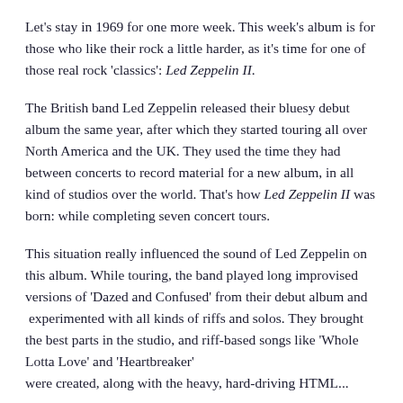Let's stay in 1969 for one more week. This week's album is for those who like their rock a little harder, as it's time for one of those real rock 'classics': Led Zeppelin II.
The British band Led Zeppelin released their bluesy debut album the same year, after which they started touring all over North America and the UK. They used the time they had between concerts to record material for a new album, in all kind of studios over the world. That's how Led Zeppelin II was born: while completing seven concert tours.
This situation really influenced the sound of Led Zeppelin on this album. While touring, the band played long improvised versions of 'Dazed and Confused' from their debut album and  experimented with all kinds of riffs and solos. They brought the best parts in the studio, and riff-based songs like 'Whole Lotta Love' and 'Heartbreaker' were created, along with the heavy, hard-driving HTML...